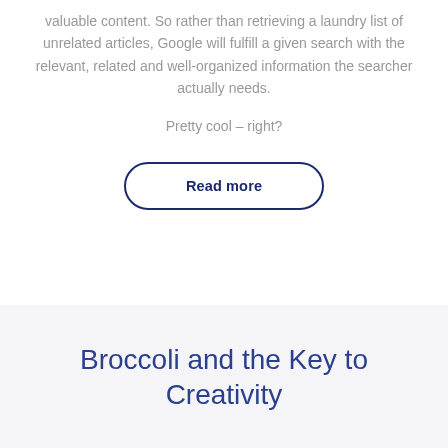valuable content. So rather than retrieving a laundry list of unrelated articles, Google will fulfill a given search with the relevant, related and well-organized information the searcher actually needs.
Pretty cool – right?
Read more
Broccoli and the Key to Creativity